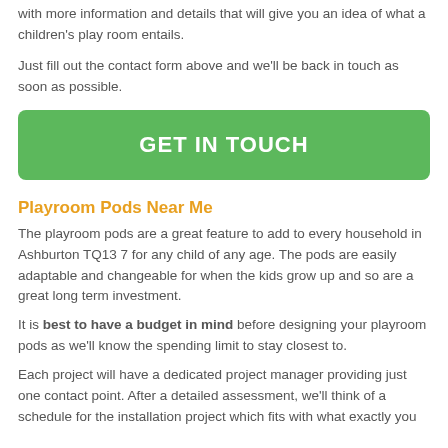with more information and details that will give you an idea of what a children's play room entails.
Just fill out the contact form above and we'll be back in touch as soon as possible.
[Figure (other): Green button with text GET IN TOUCH]
Playroom Pods Near Me
The playroom pods are a great feature to add to every household in Ashburton TQ13 7 for any child of any age. The pods are easily adaptable and changeable for when the kids grow up and so are a great long term investment.
It is best to have a budget in mind before designing your playroom pods as we'll know the spending limit to stay closest to.
Each project will have a dedicated project manager providing just one contact point. After a detailed assessment, we'll think of a schedule for the installation project which fits with what exactly you